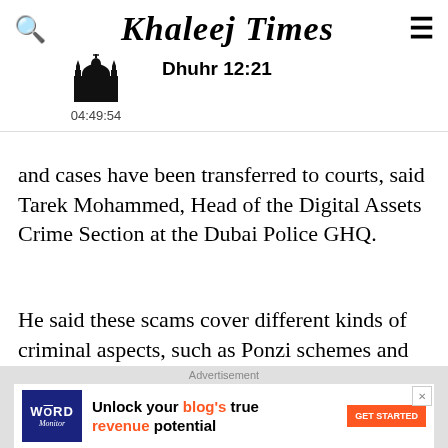Khaleej Times — Dhuhr 12:21 — 04:49:54
and cases have been transferred to courts, said Tarek Mohammed, Head of the Digital Assets Crime Section at the Dubai Police GHQ.
He said these scams cover different kinds of criminal aspects, such as Ponzi schemes and false representation, etc.
[Figure (other): Word Monitor advertisement banner with dark blue background and logo]
[Figure (other): Word Monitor bottom advertisement: Unlock your blog's true revenue potential — GET STARTED button]